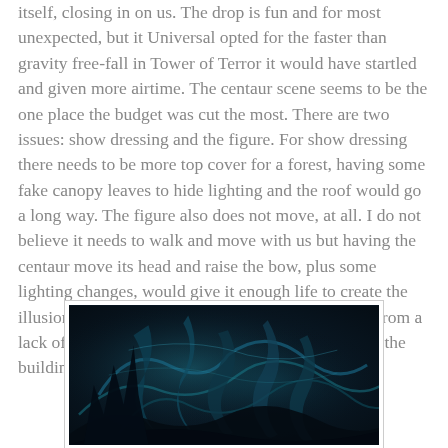itself, closing in on us. The drop is fun and for most unexpected, but it Universal opted for the faster than gravity free-fall in Tower of Terror it would have startled and given more airtime. The centaur scene seems to be the one place the budget was cut the most. There are two issues: show dressing and the figure. For show dressing there needs to be more top cover for a forest, having some fake canopy leaves to hide lighting and the roof would go a long way. The figure also does not move, at all. I do not believe it needs to walk and move with us but having the centaur move its head and raise the bow, plus some lighting changes, would give it enough life to create the illusion of life. The indoor show scenes also suffer from a lack of show doors to minimize the external light in the building.
[Figure (photo): Dark blue-toned fantasy/creature image showing swirling organic forms, feathers or wings, with dramatic dark teal and deep shadow lighting suggesting a mythological creature scene.]